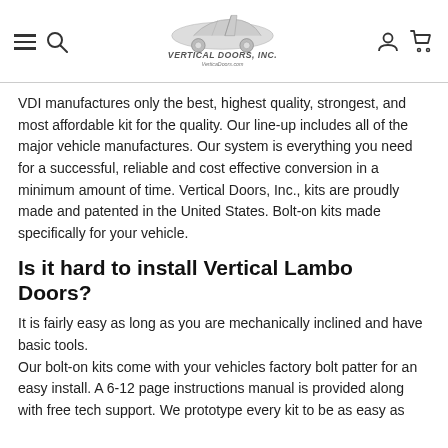Vertical Doors Inc. — navigation header with logo
VDI manufactures only the best, highest quality, strongest, and most affordable kit for the quality. Our line-up includes all of the major vehicle manufactures. Our system is everything you need for a successful, reliable and cost effective conversion in a minimum amount of time. Vertical Doors, Inc., kits are proudly made and patented in the United States. Bolt-on kits made specifically for your vehicle.
Is it hard to install Vertical Lambo Doors?
It is fairly easy as long as you are mechanically inclined and have basic tools.
Our bolt-on kits come with your vehicles factory bolt patter for an easy install. A 6-12 page instructions manual is provided along with free tech support. We prototype every kit to be as easy as